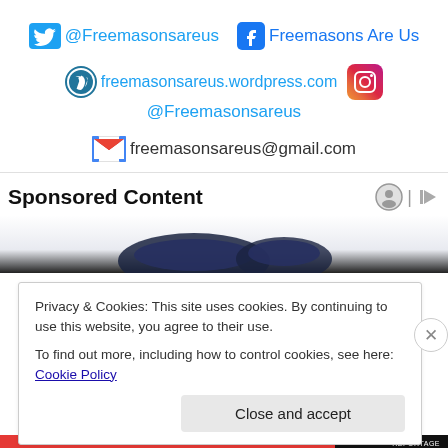@Freemasonsareus  Freemasons Are Us
freemasonsareus.wordpress.com  @Freemasonsareus
freemasonsareus@gmail.com
Sponsored Content
[Figure (photo): Dark colored headphones/cushions product image]
Privacy & Cookies: This site uses cookies. By continuing to use this website, you agree to their use.
To find out more, including how to control cookies, see here: Cookie Policy
Close and accept